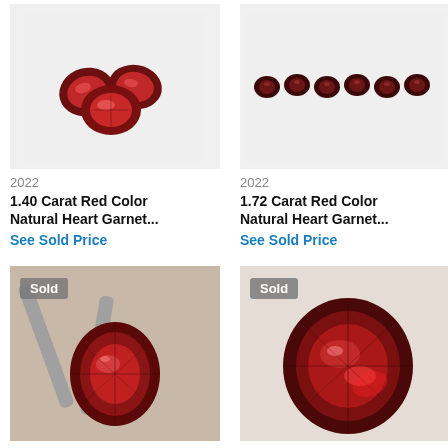[Figure (photo): Multiple red heart-shaped garnet gemstones grouped together on white background]
2022
1.40 Carat Red Color Natural Heart Garnet...
See Sold Price
[Figure (photo): Row of small dark red heart-shaped garnet gemstones on white background]
2022
1.72 Carat Red Color Natural Heart Garnet...
See Sold Price
[Figure (photo): Large dark red pear-shaped garnet gemstone held by tweezers, Sold badge]
[Figure (photo): Large dark red pear/heart-shaped garnet gemstone on white background, Sold badge]
2022
2022